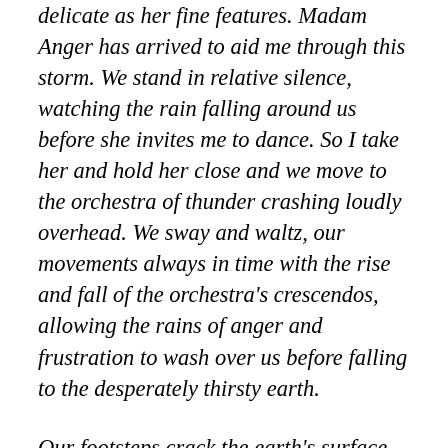delicate as her fine features. Madam Anger has arrived to aid me through this storm. We stand in relative silence, watching the rain falling around us before she invites me to dance. So I take her and hold her close and we move to the orchestra of thunder crashing loudly overhead. We sway and waltz, our movements always in time with the rise and fall of the orchestra's crescendos, allowing the rains of anger and frustration to wash over us before falling to the desperately thirsty earth.
Our footsteps crack the earth's surface, and the raindrops slip inside. And before I can stop and gasp, the first inklings of saplings arrive. So we dance around in circles, leaving behind a trail of fresh footprints teeming with new life. And after what feels like hours of dancing, I can now see that